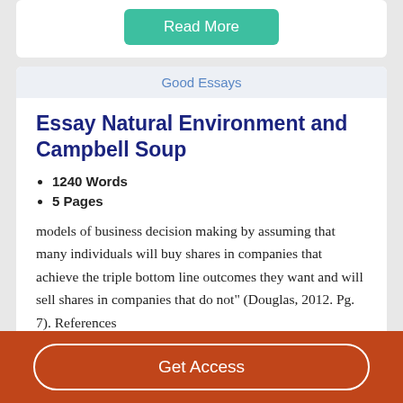[Figure (other): Read More button in teal/green color]
Good Essays
Essay Natural Environment and Campbell Soup
1240 Words
5 Pages
models of business decision making by assuming that many individuals will buy shares in companies that achieve the triple bottom line outcomes they want and will sell shares in companies that do not" (Douglas, 2012. Pg. 7). References
Get Access